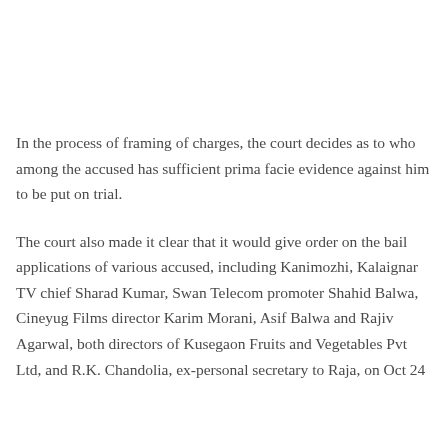In the process of framing of charges, the court decides as to who among the accused has sufficient prima facie evidence against him to be put on trial.
The court also made it clear that it would give order on the bail applications of various accused, including Kanimozhi, Kalaignar TV chief Sharad Kumar, Swan Telecom promoter Shahid Balwa, Cineyug Films director Karim Morani, Asif Balwa and Rajiv Agarwal, both directors of Kusegaon Fruits and Vegetables Pvt Ltd, and R.K. Chandolia, ex-personal secretary to Raja, on Oct 24